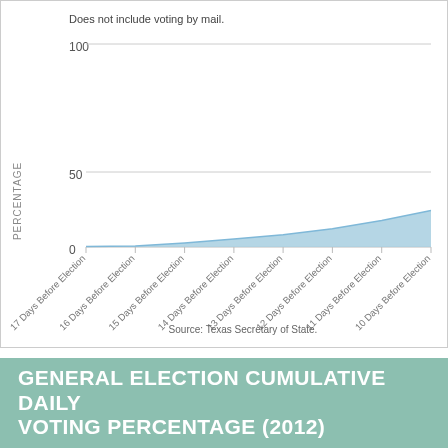[Figure (area-chart): Cumulative daily voting percentage area chart, values rising from near 0 to about 18% over 8 days before election]
Does not include voting by mail.
Source: Texas Secretary of State.
GENERAL ELECTION CUMULATIVE DAILY VOTING PERCENTAGE (2012)